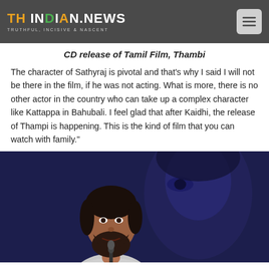THE INDIAN.NEWS — TRUTHFUL, INCISIVE & NASCENT
CD release of Tamil Film, Thambi
The character of Sathyraj is pivotal and that's why I said I will not be there in the film, if he was not acting. What is more, there is no other actor in the country who can take up a complex character like Kattappa in Bahubali. I feel glad that after Kaidhi, the release of Thampi is happening. This is the kind of film that you can watch with family."
[Figure (photo): A young bearded man speaking at a microphone at a press event, with a large poster/backdrop of a face behind him in blue tones.]